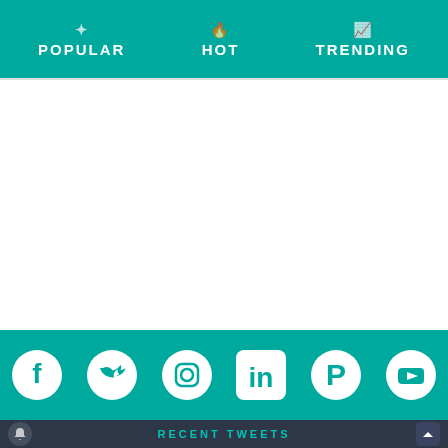POPULAR | HOT | TRENDING
[Figure (other): White blank content area]
[Figure (infographic): Social media icon bar with Facebook, Twitter, Instagram, LinkedIn, Pinterest, YouTube icons on teal background]
RECENT TWEETS